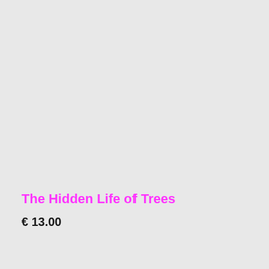The Hidden Life of Trees
€ 13.00